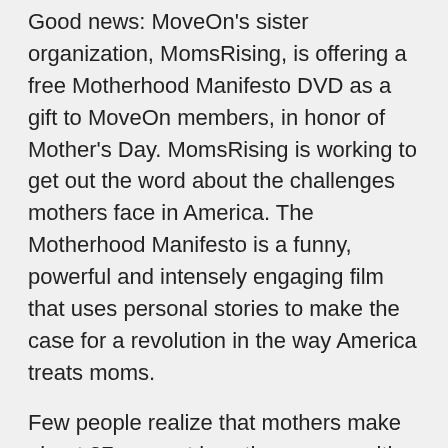Good news: MoveOn's sister organization, MomsRising, is offering a free Motherhood Manifesto DVD as a gift to MoveOn members, in honor of Mother's Day. MomsRising is working to get out the word about the challenges mothers face in America. The Motherhood Manifesto is a funny, powerful and intensely engaging film that uses personal stories to make the case for a revolution in the way America treats moms.
Few people realize that mothers make about 27 percent less than a man with equivalent education and experience, and single mothers make about 40 percent less. Or that there are 40,000 kindergartners home alone after school in this country. Or that of the world's top 20 industrialized nations we are the only one without paid sick days for workers. The wonderful thing is, once people understand, they act.
So here we are, a few facts and then the rest is cut off...